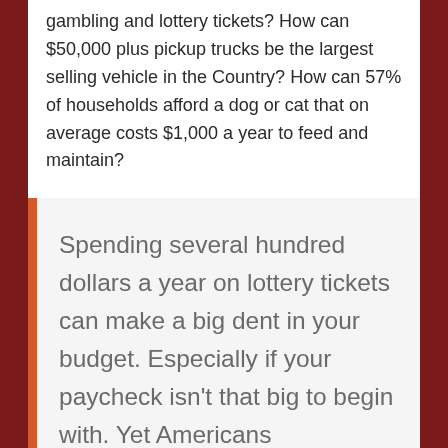gambling and lottery tickets? How can $50,000 plus pickup trucks be the largest selling vehicle in the Country? How can 57% of households afford a dog or cat that on average costs $1,000 a year to feed and maintain?
Spending several hundred dollars a year on lottery tickets can make a big dent in your budget. Especially if your paycheck isn't that big to begin with. Yet Americans [continues below]